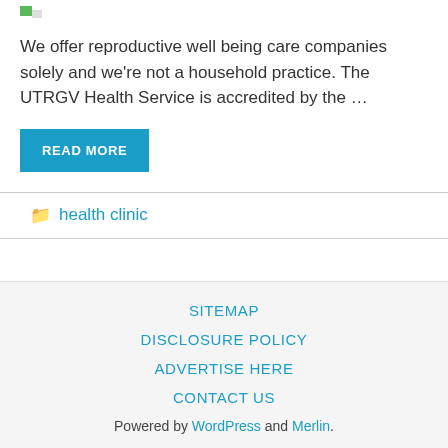[Figure (logo): Small green logo image in top-left corner]
We offer reproductive well being care companies solely and we're not a household practice. The UTRGV Health Service is accredited by the …
READ MORE
health clinic
SITEMAP
DISCLOSURE POLICY
ADVERTISE HERE
CONTACT US
Powered by WordPress and Merlin.